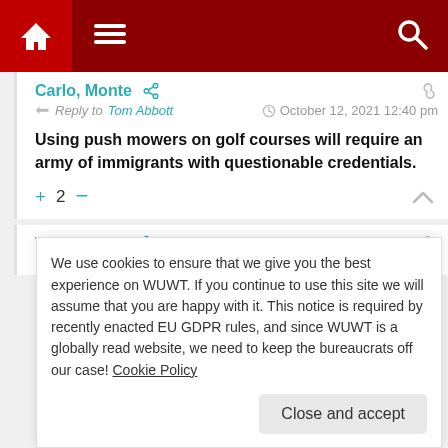Navigation bar with home, menu, and search icons
Carlo, Monte — Reply to Tom Abbott — October 12, 2021 12:40 pm
Using push mowers on golf courses will require an army of immigrants with questionable credentials.
+2— (vote controls)
Tom Abbott — Reply to Carlo, Monte — October 13, 2021 4:24 am
We use cookies to ensure that we give you the best experience on WUWT. If you continue to use this site we will assume that you are happy with it. This notice is required by recently enacted EU GDPR rules, and since WUWT is a globally read website, we need to keep the bureaucrats off our case! Cookie Policy
Close and accept